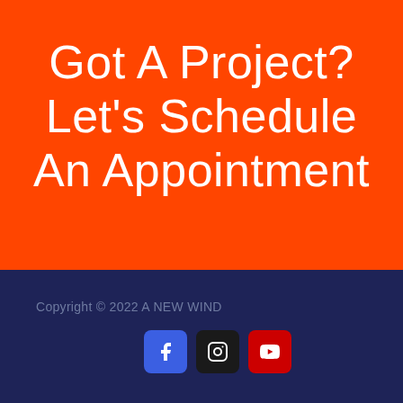Got A Project? Let's Schedule An Appointment
Copyright © 2022 A NEW WIND
[Figure (infographic): Social media icons: Facebook (blue rounded square), Instagram (black rounded square), YouTube (red rounded square)]